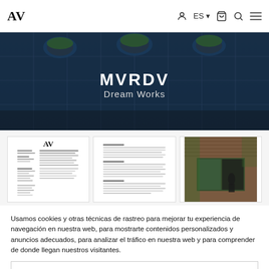AV | ES | Navigation icons
[Figure (photo): Main banner image of MVRDV Dream Works — architectural interior with blue glass panels and hanging planters, large white text MVRDV and Dream Works centered on the image]
[Figure (photo): Thumbnail 1: AV magazine page with text columns]
[Figure (photo): Thumbnail 2: AV magazine text page with columns]
[Figure (photo): Thumbnail 3: Architectural exterior photo with brick and greenery]
Usamos cookies y otras técnicas de rastreo para mejorar tu experiencia de navegación en nuestra web, para mostrarte contenidos personalizados y anuncios adecuados, para analizar el tráfico en nuestra web y para comprender de donde llegan nuestros visitantes.
Aceptar
Configurar